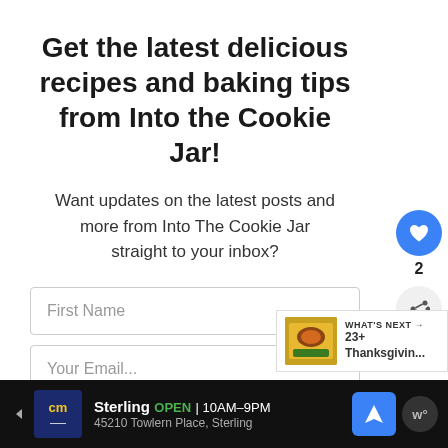Get the latest delicious recipes and baking tips from Into the Cookie Jar!
Want updates on the latest posts and more from Into The Cookie Jar straight to your inbox?
First Name
Your Email...
YES, PLEASE!
[Figure (infographic): Social sidebar with heart/like button showing count of 2 and a share button]
[Figure (infographic): What's Next panel with food image thumbnail and text '23+ Thanksgivin...']
[Figure (infographic): Advertisement banner: cm logo, Sterling OPEN 10AM-9PM, 45210 Towlern Place Sterling, navigation icon]